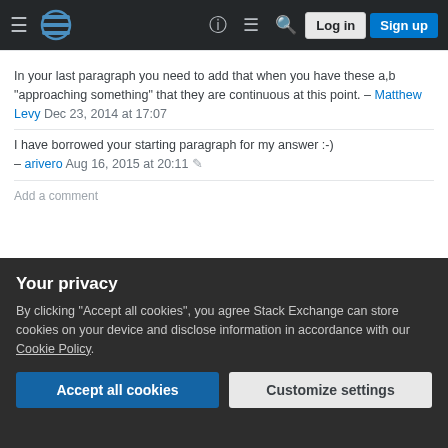Stack Exchange navigation bar with hamburger menu, logo, help, chat, search icons, Log in and Sign up buttons
In your last paragraph you need to add that when you have these a,b "approaching something" that they are continuous at this point. – Matthew Levy Dec 23, 2014 at 17:07
I have borrowed your starting paragraph for my answer :-) – arivero Aug 16, 2015 at 20:11
Add a comment
The key is to realize what a fraction a/b really represents: a/b is the number with the property that a/b · b = a.
So, in the first case if x ≠ 0, there is no number x/0 with
Your privacy
By clicking "Accept all cookies", you agree Stack Exchange can store cookies on your device and disclose information in accordance with our Cookie Policy.
Accept all cookies
Customize settings
x ≠ 0 then 0 has the property that 0 · x = 0, so 0/x is the